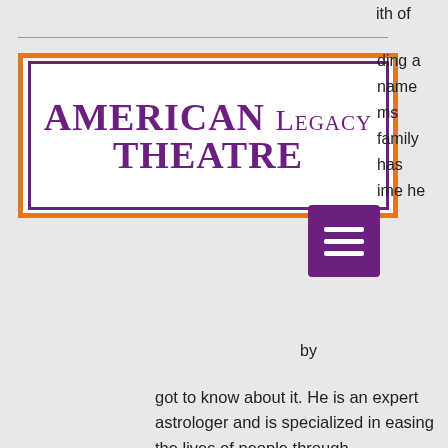[Figure (logo): American Legacy Theatre logo with orange border and purple inner border and text]
ith of
ding a
name
ms
family
has
ime he
got to know about it. He is an expert astrologer and is specialized in easing the lives of people through Numerology, Gemology, Spiritual Healing, Palmistry, Vastu Shastra, Love psychic readings, Kundli Matchmaking, Fortune Telling, Horoscope and Birth Chart analysis.
Black Magic Specialist in Spain +91-9982517109
Black Magic Specialist in Switzerland +91-9982517109